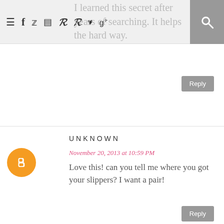Navigation bar with menu, social icons, and search
I learned this secret after years of searching. It helps the hard way.
Reply
UNKNOWN
November 20, 2013 at 10:59 PM
Love this! can you tell me where you got your slippers? I want a pair!
Reply
UNKNOWN
November 20, 2013 at 11:00 PM